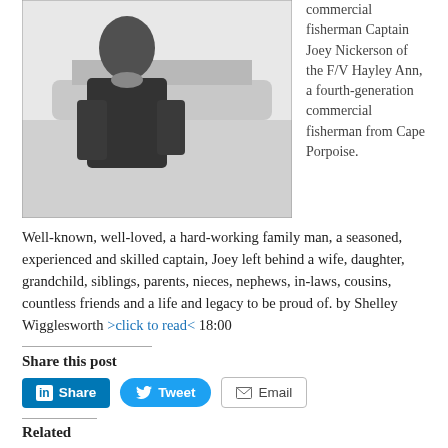[Figure (photo): Black and white photograph of a person, likely Captain Joey Nickerson, standing near a boat.]
commercial fisherman Captain Joey Nickerson of the F/V Hayley Ann, a fourth-generation commercial fisherman from Cape Porpoise. Well-known, well-loved, a hard-working family man, a seasoned, experienced and skilled captain, Joey left behind a wife, daughter, grandchild, siblings, parents, nieces, nephews, in-laws, cousins, countless friends and a life and legacy to be proud of. by Shelley Wigglesworth >click to read< 18:00
Share this post
Share
Tweet
Email
Related
'That's Pampi's tree': Lobster trap tree honors Maine fisherman killed at sea
F/V Lydia and Maya fisherman Martin Gorham – Search has been suspended